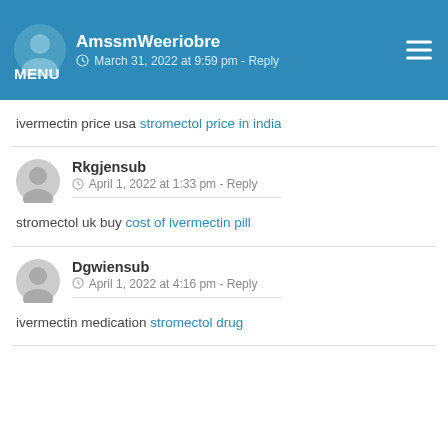AmssmWeeriobre — March 31, 2022 at 9:59 pm - Reply
ivermectin price usa stromectol price in india
Rkgjensub — April 1, 2022 at 1:33 pm - Reply
stromectol uk buy cost of ivermectin pill
Dgwiensub — April 1, 2022 at 4:16 pm - Reply
ivermectin medication stromectol drug